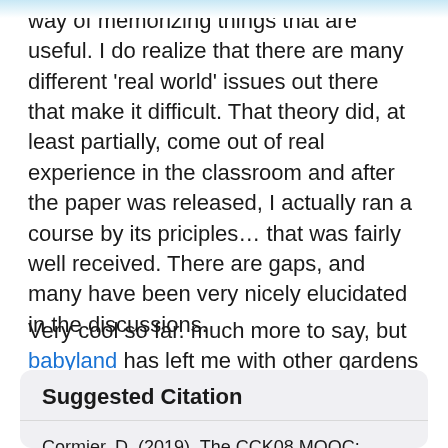way of memorizing things that are useful. I do realize that there are many different 'real world' issues out there that make it difficult. That theory did, at least partially, come out of real experience in the classroom and after the paper was released, I actually ran a course by its priciples… that was fairly well received. There are gaps, and many have been very nicely elucidated in the discussions.
Very cool so far. much more to say, but babyland has left me with other gardens that need tending.
Suggested Citation
Cormier, D. (2019). The CCK08 MOOC: